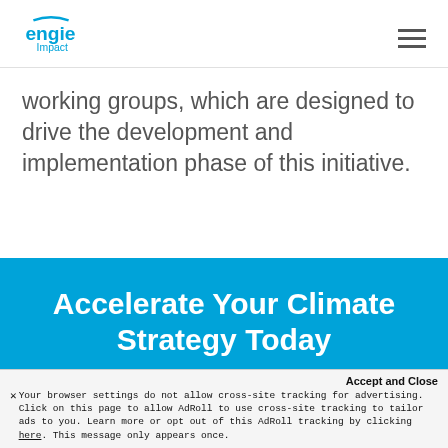ENGIE Impact [logo] [hamburger menu]
working groups, which are designed to drive the development and implementation phase of this initiative.
Accelerate Your Climate Strategy Today
ENGIE Impact specializes in developing
Accept and Close
Your browser settings do not allow cross-site tracking for advertising. Click on this page to allow AdRoll to use cross-site tracking to tailor ads to you. Learn more or opt out of this AdRoll tracking by clicking here. This message only appears once.